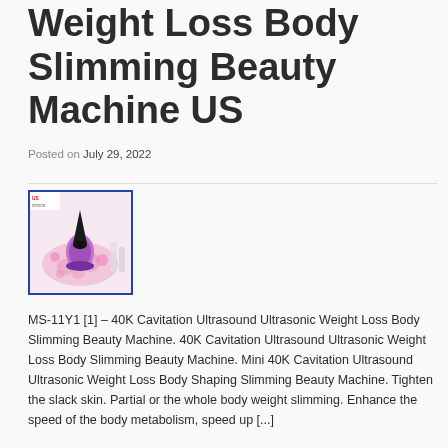Weight Loss Body Slimming Beauty Machine US
Posted on July 29, 2022
[Figure (photo): Product photo of a 40K Cavitation Ultrasound Ultrasonic Weight Loss Body Slimming Beauty Machine with purple/violet handheld device on a pink floral mat, with 'US STOCK' label in top left corner, framed by a blue border.]
MS-11Y1 [1] – 40K Cavitation Ultrasound Ultrasonic Weight Loss Body Slimming Beauty Machine. 40K Cavitation Ultrasound Ultrasonic Weight Loss Body Slimming Beauty Machine. Mini 40K Cavitation Ultrasound Ultrasonic Weight Loss Body Shaping Slimming Beauty Machine. Tighten the slack skin. Partial or the whole body weight slimming. Enhance the speed of the body metabolism, speed up [...]